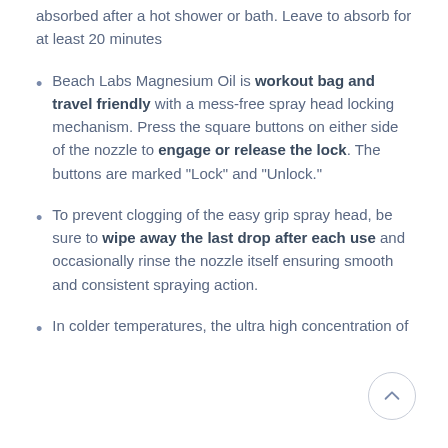absorbed after a hot shower or bath. Leave to absorb for at least 20 minutes
Beach Labs Magnesium Oil is workout bag and travel friendly with a mess-free spray head locking mechanism. Press the square buttons on either side of the nozzle to engage or release the lock. The buttons are marked "Lock" and "Unlock."
To prevent clogging of the easy grip spray head, be sure to wipe away the last drop after each use and occasionally rinse the nozzle itself ensuring smooth and consistent spraying action.
In colder temperatures, the ultra high concentration of